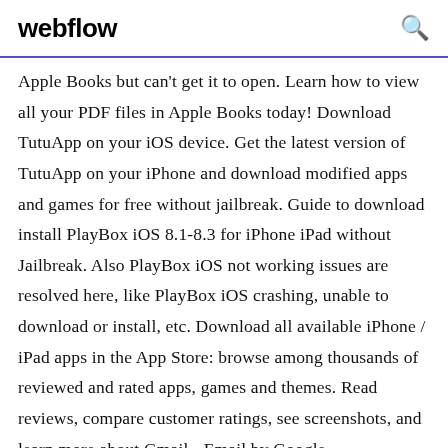webflow
Apple Books but can't get it to open. Learn how to view all your PDF files in Apple Books today! Download TutuApp on your iOS device. Get the latest version of TutuApp on your iPhone and download modified apps and games for free without jailbreak. Guide to download install PlayBox iOS 8.1-8.3 for iPhone iPad without Jailbreak. Also PlayBox iOS not working issues are resolved here, like PlayBox iOS crashing, unable to download or install, etc. Download all available iPhone / iPad apps in the App Store: browse among thousands of reviewed and rated apps, games and themes. Read reviews, compare customer ratings, see screenshots, and learn more about Gmail - Email by Google.